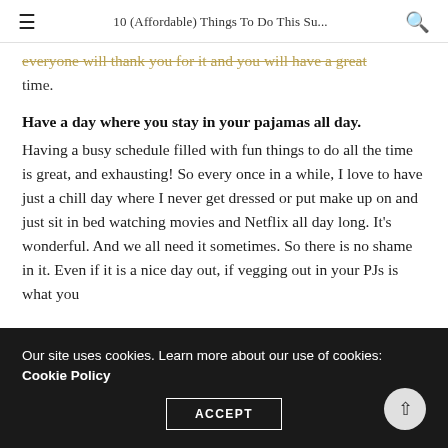10 (Affordable) Things To Do This Su...
everyone will thank you for it and you will have a great time.
Have a day where you stay in your pajamas all day.
Having a busy schedule filled with fun things to do all the time is great, and exhausting! So every once in a while, I love to have just a chill day where I never get dressed or put make up on and just sit in bed watching movies and Netflix all day long. It’s wonderful. And we all need it sometimes. So there is no shame in it. Even if it is a nice day out, if vegging out in your PJs is what you
Our site uses cookies. Learn more about our use of cookies: Cookie Policy
ACCEPT